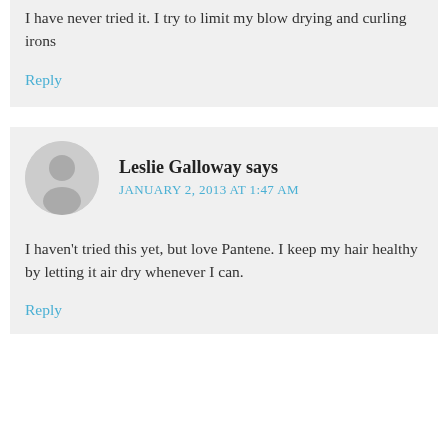I have never tried it. I try to limit my blow drying and curling irons
Reply
Leslie Galloway says
JANUARY 2, 2013 AT 1:47 AM
I haven't tried this yet, but love Pantene. I keep my hair healthy by letting it air dry whenever I can.
Reply